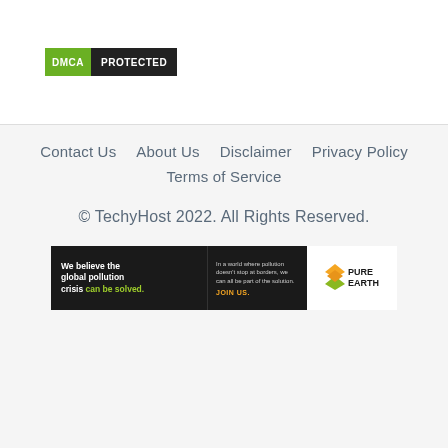[Figure (logo): DMCA Protected badge with green DMCA label and black PROTECTED label]
Contact Us    About Us    Disclaimer    Privacy Policy
Terms of Service
© TechyHost 2022. All Rights Reserved.
[Figure (infographic): Pure Earth advertisement banner: 'We believe the global pollution crisis can be solved. In a world where pollution doesn't stop at borders, we can all be part of the solution. JOIN US.' with Pure Earth logo.]